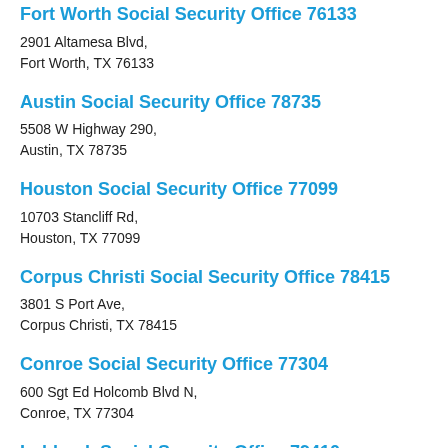Fort Worth Social Security Office 76133
2901 Altamesa Blvd,
Fort Worth, TX 76133
Austin Social Security Office 78735
5508 W Highway 290,
Austin, TX 78735
Houston Social Security Office 77099
10703 Stancliff Rd,
Houston, TX 77099
Corpus Christi Social Security Office 78415
3801 S Port Ave,
Corpus Christi, TX 78415
Conroe Social Security Office 77304
600 Sgt Ed Holcomb Blvd N,
Conroe, TX 77304
Lubbock Social Security Office 79410